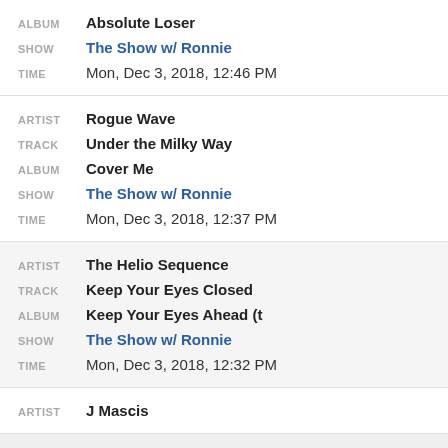ALBUM: Absolute Loser | SHOW: The Show w/ Ronnie | TIME: Mon, Dec 3, 2018, 12:46 PM
ARTIST: Rogue Wave | TRACK: Under the Milky Way | ALBUM: Cover Me | SHOW: The Show w/ Ronnie | TIME: Mon, Dec 3, 2018, 12:37 PM
ARTIST: The Helio Sequence | TRACK: Keep Your Eyes Closed | ALBUM: Keep Your Eyes Ahead (t | SHOW: The Show w/ Ronnie | TIME: Mon, Dec 3, 2018, 12:32 PM
ARTIST: J Mascis